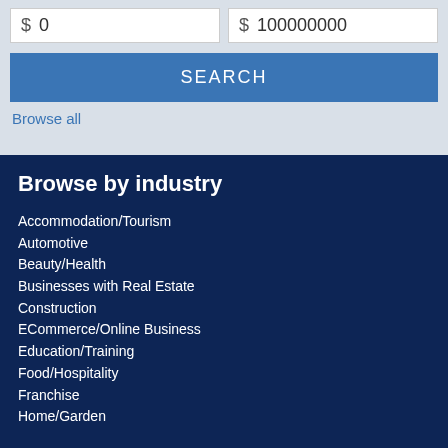$ 0
$ 100000000
SEARCH
Browse all
Browse by industry
Accommodation/Tourism
Automotive
Beauty/Health
Businesses with Real Estate
Construction
ECommerce/Online Business
Education/Training
Food/Hospitality
Franchise
Home/Garden